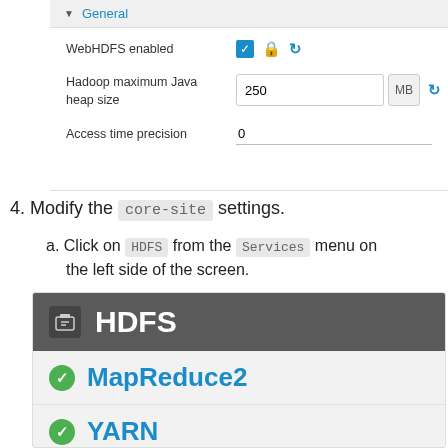[Figure (screenshot): UI settings panel showing General section with WebHDFS enabled checkbox, Hadoop maximum Java heap size set to 250 MB, and Access time precision set to 0]
4. Modify the core-site settings.
a. Click on HDFS from the Services menu on the left side of the screen.
[Figure (screenshot): Services sidebar showing HDFS (selected, dark header), MapReduce2 (green check), YARN (green check), and Tez (partially visible)]